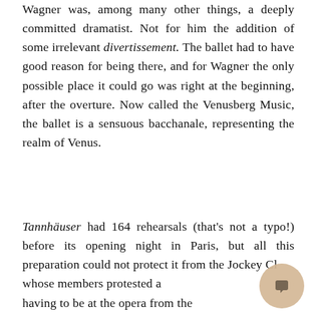Wagner was, among many other things, a deeply committed dramatist. Not for him the addition of some irrelevant divertissement. The ballet had to have good reason for being there, and for Wagner the only possible place it could go was right at the beginning, after the overture. Now called the Venusberg Music, the ballet is a sensuous bacchanale, representing the realm of Venus.
Tannhäuser had 164 rehearsals (that's not a typo!) before its opening night in Paris, but all this preparation could not protect it from the Jockey Club, whose members protested at having to be at the opera from the